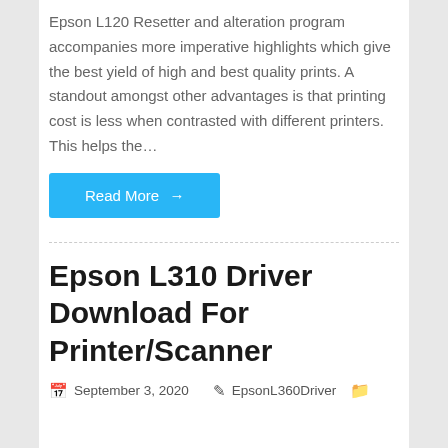Epson L120 Resetter and alteration program accompanies more imperative highlights which give the best yield of high and best quality prints. A standout amongst other advantages is that printing cost is less when contrasted with different printers. This helps the…
Read More →
Epson L310 Driver Download For Printer/Scanner
September 3, 2020   EpsonL360Driver